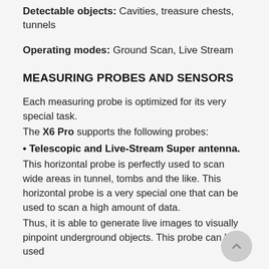Detectable objects: Cavities, treasure chests, tunnels
Operating modes: Ground Scan, Live Stream
MEASURING PROBES AND SENSORS
Each measuring probe is optimized for its very special task.
The X6 Pro supports the following probes:
• Telescopic and Live-Stream Super antenna.
This horizontal probe is perfectly used to scan wide areas in tunnel, tombs and the like. This horizontal probe is a very special one that can be used to scan a high amount of data.
Thus, it is able to generate live images to visually pinpoint underground objects. This probe can be used